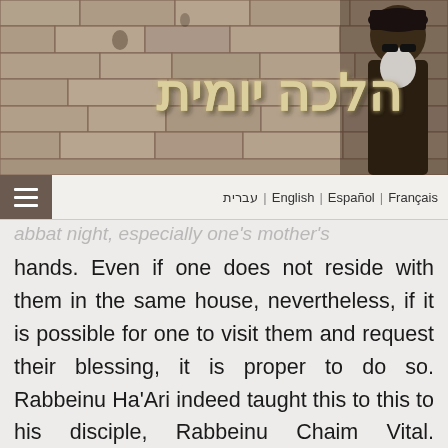[Figure (photo): Header banner showing a stone wall (Western Wall) background with Hebrew title 'הלכה יומית' in gold/cream text, and a photo of a rabbi in the top right corner]
עברית | English | Español | Français
Shabbat night, especially one's mother's hands. Even if one does not reside with them in the same house, nevertheless, if it is possible for one to visit them and request their blessing, it is proper to do so. Rabbeinu Ha'Ari indeed taught this to this to his disciple, Rabbeinu Chaim Vital. Similarly, Maran Ha'Chida writes in his Moreh Be'Etzba that when one kisses the hands of one's parents, one should have in mind to fulfill the Mitzvah of honoring one's parents and when